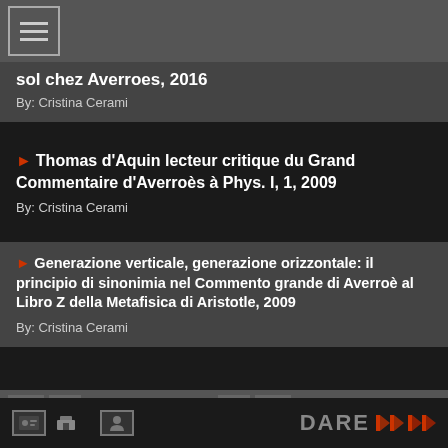sol chez Averroes, 2016
By: Cristina Cerami
▶ Thomas d'Aquin lecteur critique du Grand Commentaire d'Averroès à Phys. I, 1, 2009
By: Cristina Cerami
▶ Generazione verticale, generazione orizzontale: il principio di sinonimia nel Commento grande di Averroè al Libro Z della Metafisica di Aristotle, 2009
By: Cristina Cerami
PAGE 1 OF 1
[Figure (logo): DARE logo with stylized text and icon in red/grey]